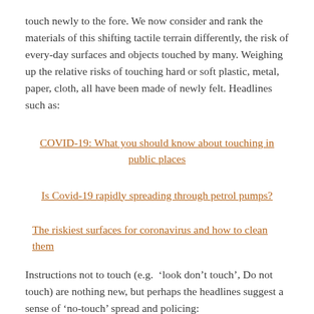touch newly to the fore. We now consider and rank the materials of this shifting tactile terrain differently, the risk of every-day surfaces and objects touched by many. Weighing up the relative risks of touching hard or soft plastic, metal, paper, cloth, all have been made of newly felt. Headlines such as:
COVID-19: What you should know about touching in public places
Is Covid-19 rapidly spreading through petrol pumps?
The riskiest surfaces for coronavirus and how to clean them
Instructions not to touch (e.g. 'look don’t touch', Do not touch) are nothing new, but perhaps the headlines suggest a sense of ‘no-touch’ spread and policing: